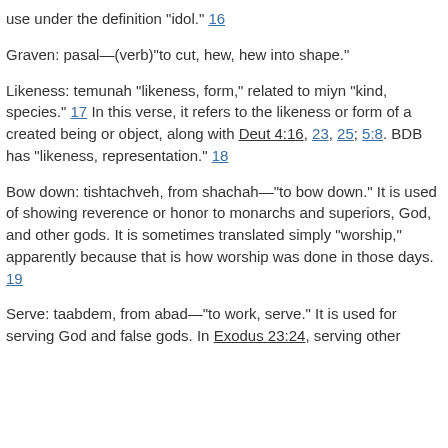use under the definition "idol." 16
Graven: pasal—(verb)"to cut, hew, hew into shape."
Likeness: temunah "likeness, form," related to miyn "kind, species." 17 In this verse, it refers to the likeness or form of a created being or object, along with Deut 4:16, 23, 25; 5:8. BDB has "likeness, representation." 18
Bow down: tishtachveh, from shachah—"to bow down." It is used of showing reverence or honor to monarchs and superiors, God, and other gods. It is sometimes translated simply "worship," apparently because that is how worship was done in those days. 19
Serve: taabdem, from abad—"to work, serve." It is used for serving God and false gods. In Exodus 23:24, serving other